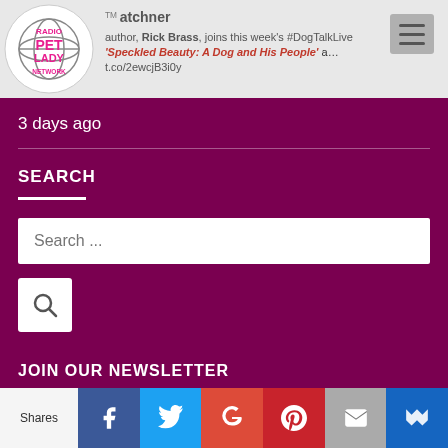[Figure (logo): Radio Pet Lady Network circular logo with globe graphic]
author, Rick Brass, joins this week's #DogTalkLive 'Speckled Beauty: A Dog and His People' a… t.co/2ewcjB3i0y
[Figure (other): Hamburger menu button]
3 days ago
SEARCH
[Figure (other): Search input field with placeholder text 'Search ...']
[Figure (other): Search button with magnifying glass icon]
JOIN OUR NEWSLETTER
Name
[Figure (other): Social sharing bar with Facebook, Twitter, Google+, Pinterest, Email, and Crown icons; 'Shares' label on left]